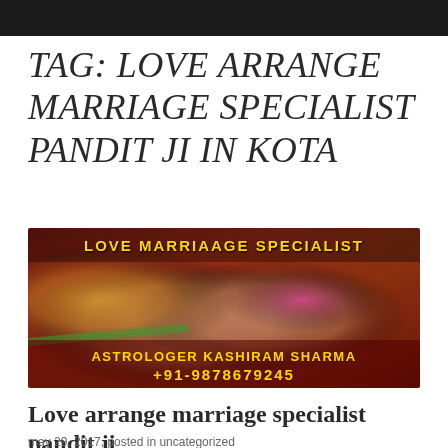TAG: LOVE ARRANGE MARRIAGE SPECIALIST PANDIT JI IN KOTA
[Figure (photo): Photo of two hands joined together in an Indian wedding setting with bangles, with text overlay reading 'LOVE MARRIAAGE SPECIALIST' at top in gold, and 'ASTROLOGER KASHIRAM SHARMA +91-9878679245' at bottom in gold on dark red background.]
Love arrange marriage specialist pandit ji
may 29, 2017, posted in uncategorized